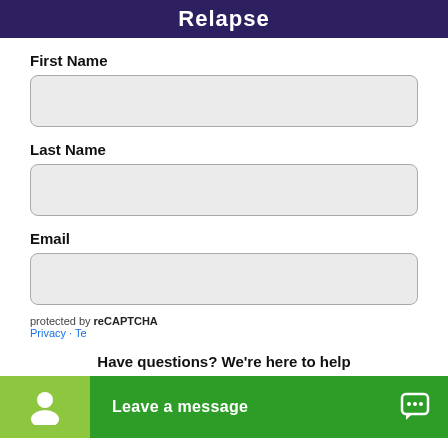Relapse
First Name
[Figure (other): Empty input field for First Name]
Last Name
[Figure (other): Empty input field for Last Name]
Email
[Figure (other): Empty input field for Email]
protected by reCAPTCHA
Have questions? We're here to help
Leave a message